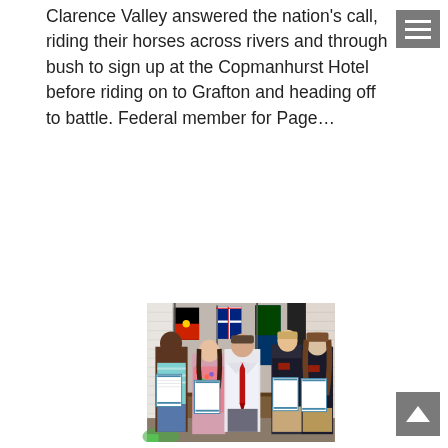Clarence Valley answered the nation's call, riding their horses across rivers and through bush to sign up at the Copmanhurst Hotel before riding on to Grafton and heading off to battle. Federal member for Page...
[Figure (photo): Group photo of five people standing in a room with flags (Aboriginal flag, Australian flag, and others) in the background. A man in a white shirt and red tie stands in the center. Four youth (two girls on the left, two boys on the right) hold certificates. The two boys on the right wear matching dark polo shirts.]